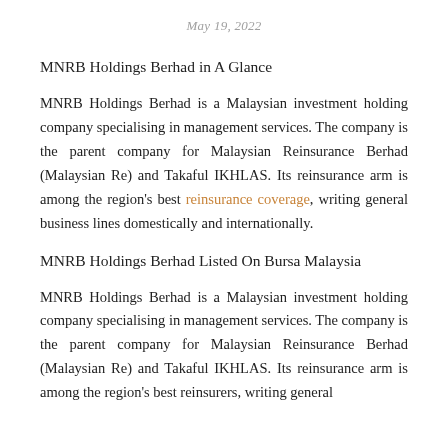May 19, 2022
MNRB Holdings Berhad in A Glance
MNRB Holdings Berhad is a Malaysian investment holding company specialising in management services. The company is the parent company for Malaysian Reinsurance Berhad (Malaysian Re) and Takaful IKHLAS. Its reinsurance arm is among the region’s best reinsurance coverage, writing general business lines domestically and internationally.
MNRB Holdings Berhad Listed On Bursa Malaysia
MNRB Holdings Berhad is a Malaysian investment holding company specialising in management services. The company is the parent company for Malaysian Reinsurance Berhad (Malaysian Re) and Takaful IKHLAS. Its reinsurance arm is among the region’s best reinsurers, writing general